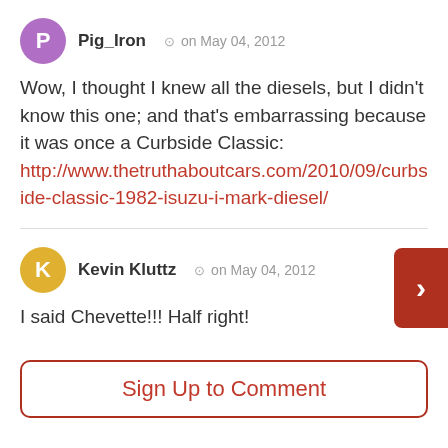Pig_Iron  on May 04, 2012
Wow, I thought I knew all the diesels, but I didn't know this one; and that's embarrassing because it was once a Curbside Classic: http://www.thetruthaboutcars.com/2010/09/curbside-classic-1982-isuzu-i-mark-diesel/
Kevin Kluttz  on May 04, 2012
I said Chevette!!! Half right!
Sign Up to Comment